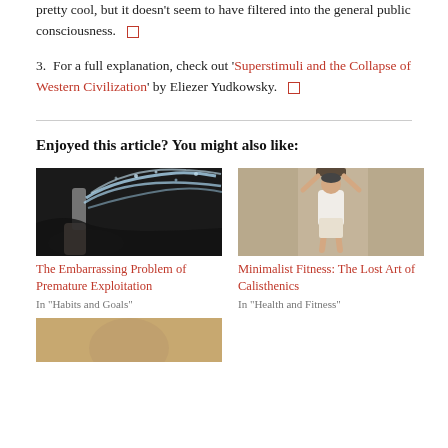pretty cool, but it doesn't seem to have filtered into the general public consciousness. ☐
3. For a full explanation, check out 'Superstimuli and the Collapse of Western Civilization' by Eliezer Yudkowsky. ☐
Enjoyed this article? You might also like:
[Figure (photo): A hand squeezing a water bottle, creating a splash of water against a dark background.]
The Embarrassing Problem of Premature Exploitation
In "Habits and Goals"
[Figure (photo): A person doing a pull-up or hanging exercise on a bar, wearing a white tank top, in an indoor setting.]
Minimalist Fitness: The Lost Art of Calisthenics
In "Health and Fitness"
[Figure (photo): Partial view of a third article image at the bottom of the page.]